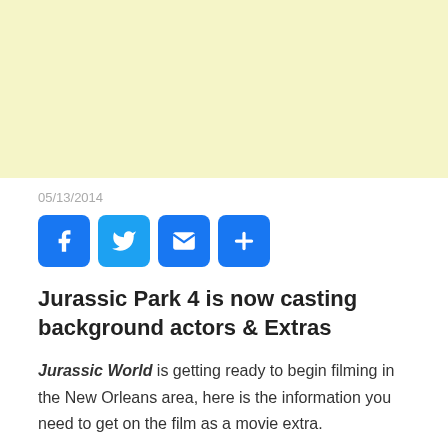[Figure (other): Yellow/cream colored advertisement banner placeholder]
05/13/2014
[Figure (other): Social sharing buttons: Facebook, Twitter, Email, Plus]
Jurassic Park 4 is now casting background actors & Extras
Jurassic World is getting ready to begin filming in the New Orleans area, here is the information you need to get on the film as a movie extra.